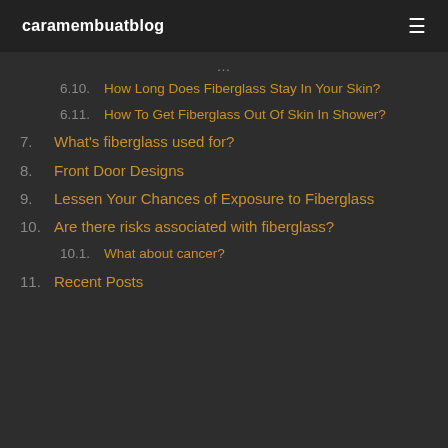caramembuatblog
6.10. How Long Does Fiberglass Stay In Your Skin?
6.11. How To Get Fiberglass Out Of Skin In Shower?
7. What's fiberglass used for?
8. Front Door Designs
9. Lessen Your Chances of Exposure to Fiberglass
10. Are there risks associated with fiberglass?
10.1. What about cancer?
11. Recent Posts